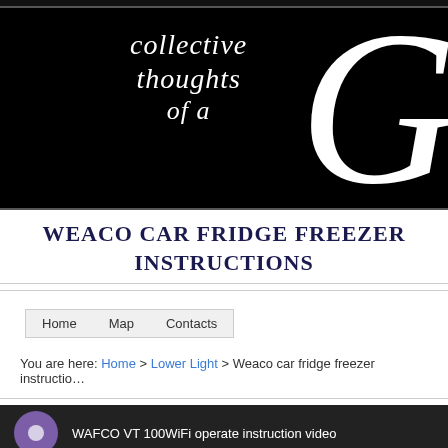[Figure (illustration): Website header banner with black background showing cursive/script text 'collective thoughts of a' and a large decorative italic letter G on the right side]
WEACO CAR FRIDGE FREEZER INSTRUCTIONS
Home   Map   Contacts
You are here: Home > Lower Light > Weaco car fridge freezer instructions
[Figure (screenshot): Video thumbnail showing dark background with purple circle icon and text 'WAFCO VT 100WiFi operate instruction video']